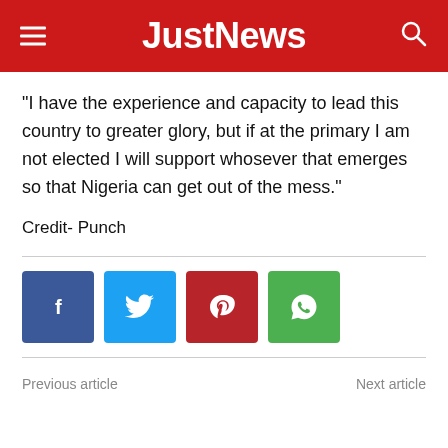JustNews
“I have the experience and capacity to lead this country to greater glory, but if at the primary I am not elected I will support whosever that emerges so that Nigeria can get out of the mess.”
Credit- Punch
[Figure (infographic): Social share buttons: Facebook (blue), Twitter (light blue), Pinterest (dark red), WhatsApp (green)]
Previous article    Next article